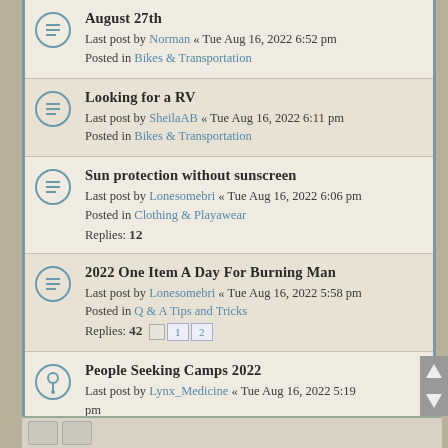August 27th
Last post by Norman « Tue Aug 16, 2022 6:52 pm
Posted in Bikes & Transportation
Looking for a RV
Last post by SheilaAB « Tue Aug 16, 2022 6:11 pm
Posted in Bikes & Transportation
Sun protection without sunscreen
Last post by Lonesomebri « Tue Aug 16, 2022 6:06 pm
Posted in Clothing & Playawear
Replies: 12
2022 One Item A Day For Burning Man
Last post by Lonesomebri « Tue Aug 16, 2022 5:58 pm
Posted in Q & A Tips and Tricks
Replies: 42 [1] [2]
People Seeking Camps 2022
Last post by Lynx_Medicine « Tue Aug 16, 2022 5:19 pm
Posted in Camps & Villages
Replies: 27